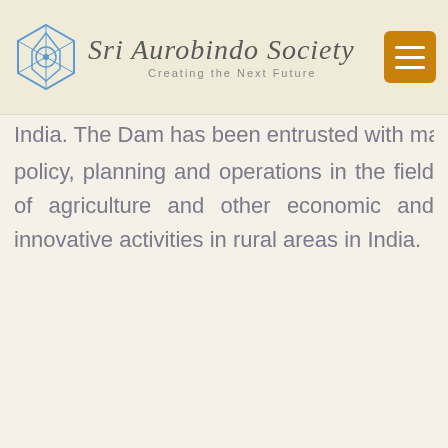Sri Aurobindo Society — Creating the Next Future
India. The Dam has been entrusted with matters concerning policy, planning and operations in the field of agriculture and other economic and innovative activities in rural areas in India.